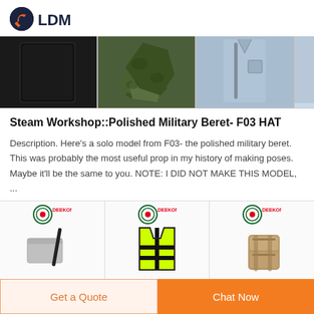[Figure (logo): LDM logo with gear icon and wrench]
[Figure (photo): Three product images: black panel, green camo netting, light blue uniform shirt]
Steam Workshop::Polished Military Beret- F03 HAT
Description. Here's a solo model from F03- the polished military beret. This was probably the most useful prop in my history of making poses. Maybe it'll be the same to you. NOTE: I DID NOT MAKE THIS MODEL, ...
[Figure (photo): Three Deekon-branded product panels: silver metal container, yellow high-visibility vest, tan tactical backpack]
Get a Quote
Chat Now